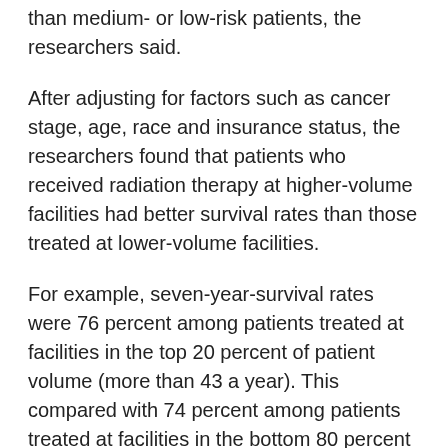than medium- or low-risk patients, the researchers said.
After adjusting for factors such as cancer stage, age, race and insurance status, the researchers found that patients who received radiation therapy at higher-volume facilities had better survival rates than those treated at lower-volume facilities.
For example, seven-year-survival rates were 76 percent among patients treated at facilities in the top 20 percent of patient volume (more than 43 a year). This compared with 74 percent among patients treated at facilities in the bottom 80 percent of volume, according to the study. The results were published online March 15 in the International Journal of Radiation Oncology, Biology and Physics.
“We know that a surgeon who does a high volume of a specific procedure has better outcomes, and now we